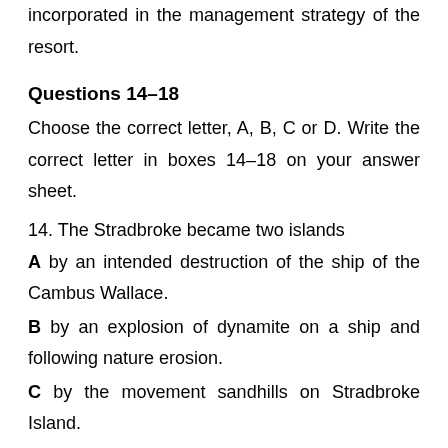incorporated in the management strategy of the resort.
Questions 14–18
Choose the correct letter, A, B, C or D. Write the correct letter in boxes 14–18 on your answer sheet.
14. The Stradbroke became two islands
A by an intended destruction of the ship of the Cambus Wallace.
B by an explosion of dynamite on a ship and following nature erosion.
C by the movement sandhills on Stradbroke Island.
D by the volcanic eruption on island.
15. Why are laundry activities for the resort carried out